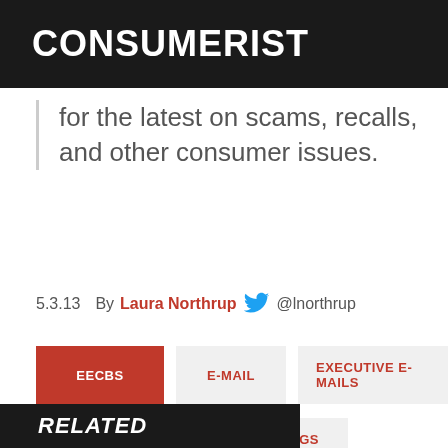CONSUMERIST
for the latest on scams, recalls, and other consumer issues.
5.3.13   By Laura Northrup @lnorthrup
EECBS
E-MAIL
EXECUTIVE E-MAILS
T-MOBILE
HAPPY ENDINGS
RELATED